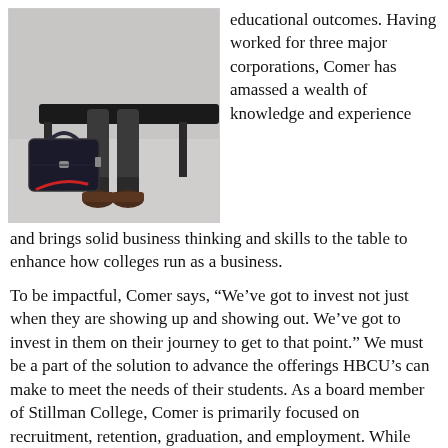[Figure (photo): Photo of a person's lower body sitting on a bench, wearing dress pants and leather shoes, with a black leather briefcase with a red strap on the ground nearby.]
educational outcomes. Having worked for three major corporations, Comer has amassed a wealth of knowledge and experience and brings solid business thinking and skills to the table to enhance how colleges run as a business.
To be impactful, Comer says, “We’ve got to invest not just when they are showing up and showing out. We’ve got to invest in them on their journey to get to that point.” We must be a part of the solution to advance the offerings HBCU’s can make to meet the needs of their students. As a board member of Stillman College, Comer is primarily focused on recruitment, retention, graduation, and employment. While Stillman does a good job at recruiting and graduating students, he believes there can be an improvement in the